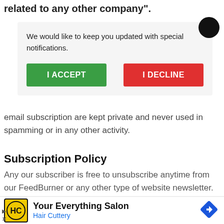related to any other company".
We would like to keep you updated with special notifications.
[Figure (screenshot): Dialog box with I ACCEPT (green) and I DECLINE (red) buttons, and a black close circle in top-right]
email subscription are kept private and never used in spamming or in any other activity.
Subscription Policy
Any our subscriber is free to unsubscribe anytime from our FeedBurner or any other type of website newsletter.
omment policy
[Figure (screenshot): Advertisement for Hair Cuttery: Your Everything Salon, with HC logo (yellow circle) and blue diamond navigation icon]